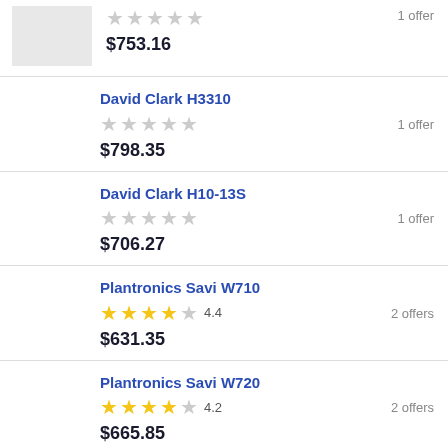[Figure (photo): Product thumbnail placeholder (gray box)]
★★★★★ (no rating)
$753.16
1 offer
David Clark H3310
★★★★★ (no rating)
$798.35
1 offer
David Clark H10-13S
★★★★★ (no rating)
$706.27
1 offer
Plantronics Savi W710
★★★★☆ 4.4
$631.35
2 offers
Plantronics Savi W720
★★★★☆ 4.2
$665.85
2 offers
Plantronics EncorePro HW520
20 offers